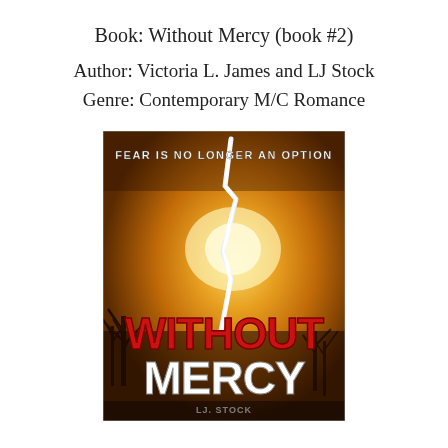Book: Without Mercy (book #2)
Author: Victoria L. James and LJ Stock
Genre: Contemporary M/C Romance
[Figure (illustration): Book cover for 'Without Mercy' by LJ Stock and Victoria L. James. Features a dramatic orange-yellow stormy sky with a lightning bolt, bare tree silhouettes at the bottom, and large bold text reading 'WITHOUT MERCY' in red and white. Tagline at top reads 'FEAR IS NO LONGER AN OPTION'.]